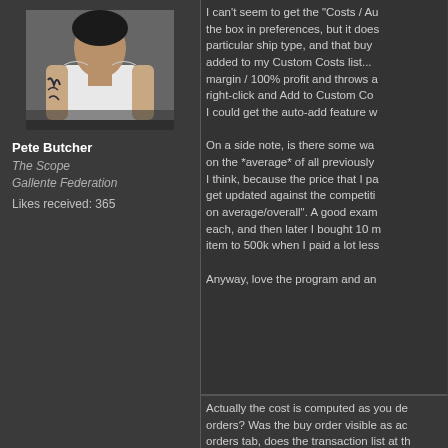[Figure (photo): Avatar photo of Pete Butcher, a man with tattoos wearing a white tank top]
Pete Butcher
The Scope
Gallente Federation
Likes received: 365
I can't seem to get the "Costs / Au... the box in preferences, but it does... particular ship type, and that buy ... added to my Custom Costs list... margin / 100% profit and throws a right-click and Add to Custom Co... I could get the auto-add feature w...

On a side note, is there some wa... on the *average* of all previously ... I think, because the price that I pa... get updated against the competiti... on average/overall". A good exam... each, and then later I bought 10 m... item to 500k when I paid a lot less...

Anyway, love the program and an...
Actually the cost is computed as you de... orders? Was the buy order visible as ac... orders tab, does the transaction list at th...